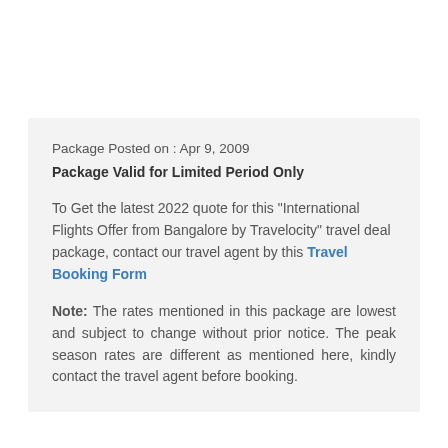Package Posted on : Apr 9, 2009
Package Valid for Limited Period Only
To Get the latest 2022 quote for this "International Flights Offer from Bangalore by Travelocity" travel deal package, contact our travel agent by this Travel Booking Form
Note: The rates mentioned in this package are lowest and subject to change without prior notice. The peak season rates are different as mentioned here, kindly contact the travel agent before booking.